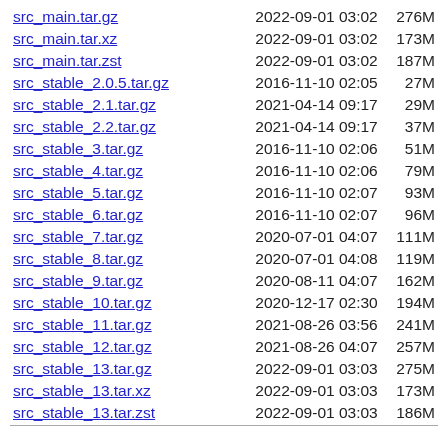| Filename | Date | Time | Size |
| --- | --- | --- | --- |
| src_main.tar.gz | 2022-09-01 | 03:02 | 276M |
| src_main.tar.xz | 2022-09-01 | 03:02 | 173M |
| src_main.tar.zst | 2022-09-01 | 03:02 | 187M |
| src_stable_2.0.5.tar.gz | 2016-11-10 | 02:05 | 27M |
| src_stable_2.1.tar.gz | 2021-04-14 | 09:17 | 29M |
| src_stable_2.2.tar.gz | 2021-04-14 | 09:17 | 37M |
| src_stable_3.tar.gz | 2016-11-10 | 02:06 | 51M |
| src_stable_4.tar.gz | 2016-11-10 | 02:06 | 79M |
| src_stable_5.tar.gz | 2016-11-10 | 02:07 | 93M |
| src_stable_6.tar.gz | 2016-11-10 | 02:07 | 96M |
| src_stable_7.tar.gz | 2020-07-01 | 04:07 | 111M |
| src_stable_8.tar.gz | 2020-07-01 | 04:08 | 119M |
| src_stable_9.tar.gz | 2020-08-11 | 04:07 | 162M |
| src_stable_10.tar.gz | 2020-12-17 | 02:30 | 194M |
| src_stable_11.tar.gz | 2021-08-26 | 03:56 | 241M |
| src_stable_12.tar.gz | 2021-08-26 | 04:07 | 257M |
| src_stable_13.tar.gz | 2022-09-01 | 03:03 | 275M |
| src_stable_13.tar.xz | 2022-09-01 | 03:03 | 173M |
| src_stable_13.tar.zst | 2022-09-01 | 03:03 | 186M |